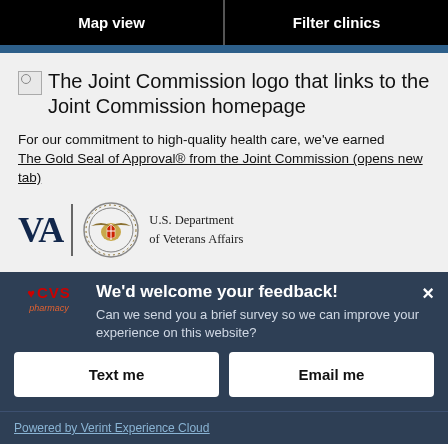Map view
Filter clinics
[Figure (logo): Broken image placeholder followed by text: The Joint Commission logo that links to the Joint Commission homepage]
For our commitment to high-quality health care, we've earned The Gold Seal of Approval® from the Joint Commission (opens new tab)
[Figure (logo): VA logo with seal and text: U.S. Department of Veterans Affairs]
We'd welcome your feedback! Can we send you a brief survey so we can improve your experience on this website?
Text me
Email me
Powered by Verint Experience Cloud